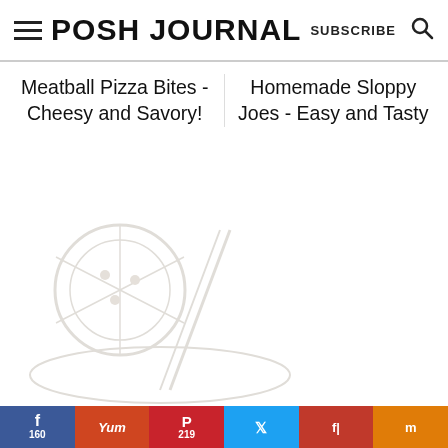POSH JOURNAL
Meatball Pizza Bites - Cheesy and Savory!
Homemade Sloppy Joes - Easy and Tasty
[Figure (photo): Faded/watermark image of pizza or food dish in lower left area]
Social share bar: Facebook 160, Yummly, Pinterest 219, Twitter, Flipboard, Mix